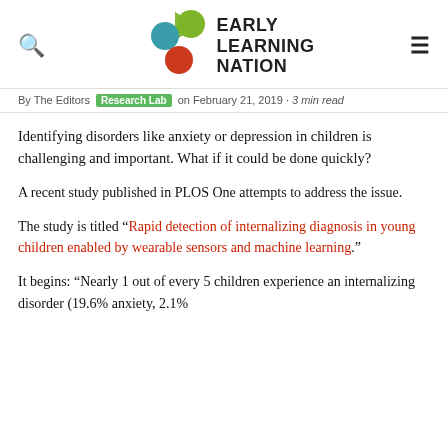Early Learning Nation
By The Editors [Research Lab] on February 21, 2019 · 3 min read
Identifying disorders like anxiety or depression in children is challenging and important. What if it could be done quickly?
A recent study published in PLOS One attempts to address the issue.
The study is titled “Rapid detection of internalizing diagnosis in young children enabled by wearable sensors and machine learning.”
It begins: “Nearly 1 out of every 5 children experience an internalizing disorder (19.6% anxiety, 2.1%